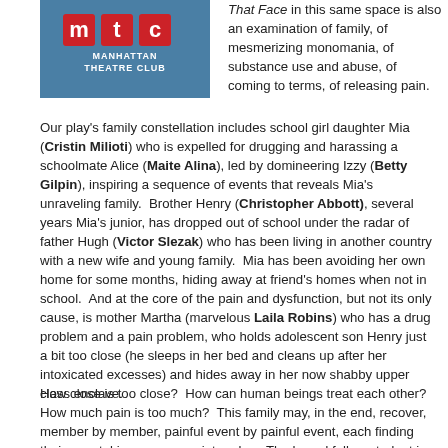[Figure (logo): Manhattan Theatre Club (MTC) logo on blue background]
That Face in this same space is also an examination of family, of mesmerizing monomania, of substance use and abuse, of coming to terms, of releasing pain.
Our play's family constellation includes school girl daughter Mia (Cristin Milioti) who is expelled for drugging and harassing a schoolmate Alice (Maite Alina), led by domineering Izzy (Betty Gilpin), inspiring a sequence of events that reveals Mia's unraveling family.  Brother Henry (Christopher Abbott), several years Mia's junior, has dropped out of school under the radar of father Hugh (Victor Slezak) who has been living in another country with a new wife and young family.  Mia has been avoiding her own home for some months, hiding away at friend's homes when not in school.  And at the core of the pain and dysfunction, but not its only cause, is mother Martha (marvelous Laila Robins) who has a drug problem and a pain problem, who holds adolescent son Henry just a bit too close (he sleeps in her bed and cleans up after her intoxicated excesses) and hides away in her now shabby upper class enclave.
How close is too close?  How can human beings treat each other?  How much pain is too much?  This family may, in the end, recover, member by member, painful event by painful event, each finding their way, taking on appropriate roles.  The hazed fellow student is in a coma but